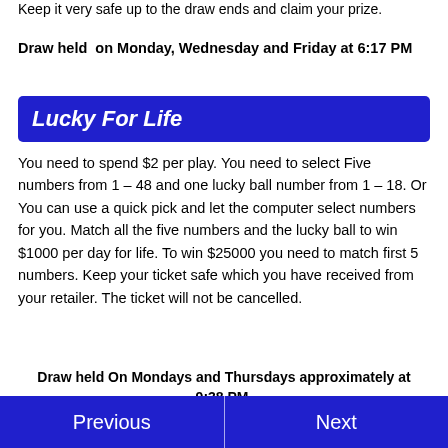Keep it very safe up to the draw ends and claim your prize.
Draw held  on Monday, Wednesday and Friday at 6:17 PM
Lucky For Life
You need to spend $2 per play. You need to select Five numbers from 1 – 48 and one lucky ball number from 1 – 18. Or You can use a quick pick and let the computer select numbers for you. Match all the five numbers and the lucky ball to win $1000 per day for life. To win $25000 you need to match first 5 numbers. Keep your ticket safe which you have received from your retailer. The ticket will not be cancelled.
Draw held On Mondays and Thursdays approximately at 9:38 PM.
Previous  Next